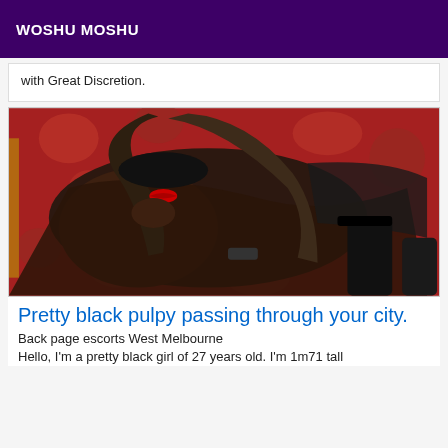WOSHU MOSHU
with Great Discretion.
[Figure (photo): A woman wearing a black mask lying on red patterned cushions wearing black lace lingerie and stockings]
Pretty black pulpy passing through your city.
Back page escorts West Melbourne
Hello, I'm a pretty black girl of 27 years old. I'm 1m71 tall